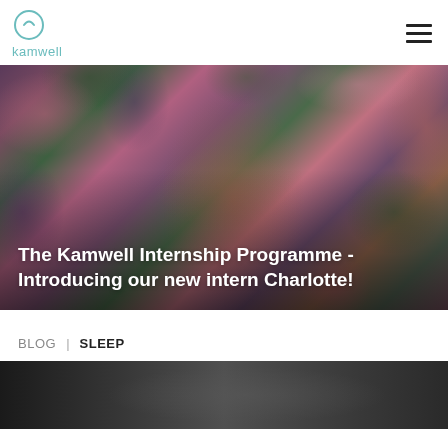kamwell
[Figure (photo): Woman laughing and smiling surrounded by colorful flowers and foliage, appearing joyful outdoors]
The Kamwell Internship Programme - Introducing our new intern Charlotte!
BLOG  |  SLEEP
[Figure (photo): Dark blurred interior scene, partially visible at bottom of page]